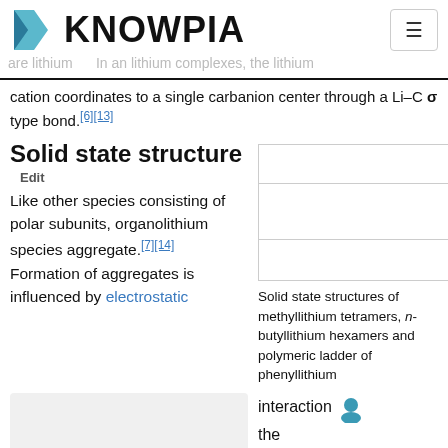KNOWPIA
are lithium  In an lithium complexes, the lithium cation coordinates to a single carbanion center through a Li–C σ type bond.[6][13]
Solid state structure
Edit
[Figure (illustration): Placeholder image boxes showing solid state structures of methyllithium tetramers, n-butyllithium hexamers and polymeric ladder of phenyllithium]
Solid state structures of methyllithium tetramers, n-butyllithium hexamers and polymeric ladder of phenyllithium
Like other species consisting of polar subunits, organolithium species aggregate.[7][14] Formation of aggregates is influenced by electrostatic
Tetrahedron and octahedron metal cores formed by aggregation of the
interaction the coordination